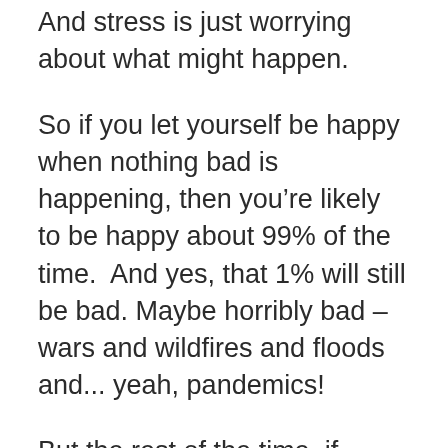And stress is just worrying about what might happen.
So if you let yourself be happy when nothing bad is happening, then you’re likely to be happy about 99% of the time.  And yes, that 1% will still be bad. Maybe horribly bad – wars and wildfires and floods and... yeah, pandemics!
But the rest of the time, if nothing bad is happening, look out your window.  Birds are flying.  Trees are waving in the